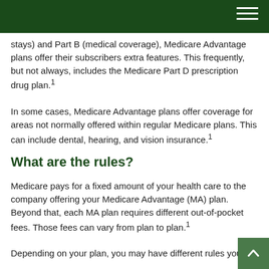stays) and Part B (medical coverage), Medicare Advantage plans offer their subscribers extra features. This frequently, but not always, includes the Medicare Part D prescription drug plan.¹
In some cases, Medicare Advantage plans offer coverage for areas not normally offered within regular Medicare plans. This can include dental, hearing, and vision insurance.¹
What are the rules?
Medicare pays for a fixed amount of your health care to the company offering your Medicare Advantage (MA) plan. Beyond that, each MA plan requires different out-of-pocket fees. Those fees can vary from plan to plan.¹
Depending on your plan, you may have different rules you